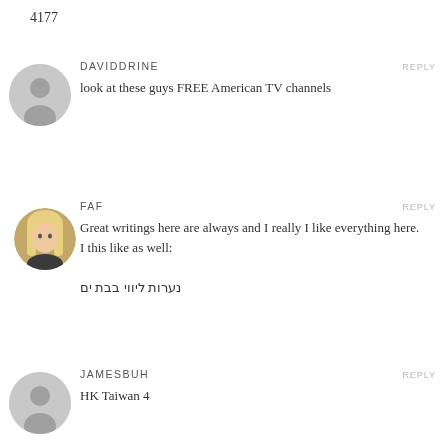4177
REPLY
DAVIDDRINE
look at these guys FREE American TV channels
REPLY
FAF
Great writings here are always and I really I like everything here.
I this like as well:
נערות ליווי בבת ים
REPLY
JAMESBUH
HK Taiwan 4